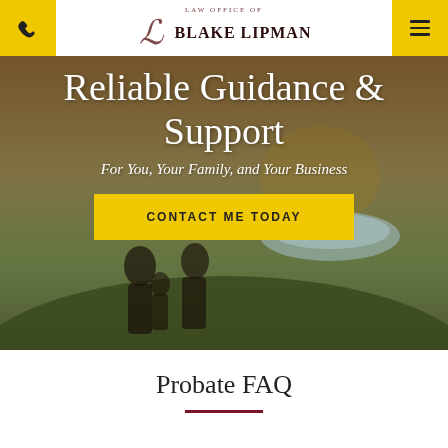Law Office of Blake Lipman
[Figure (photo): Family standing in a field at sunset, hero background image for law firm website]
Reliable Guidance & Support
For You, Your Family, and Your Business
CONTACT ME TODAY
Probate FAQ